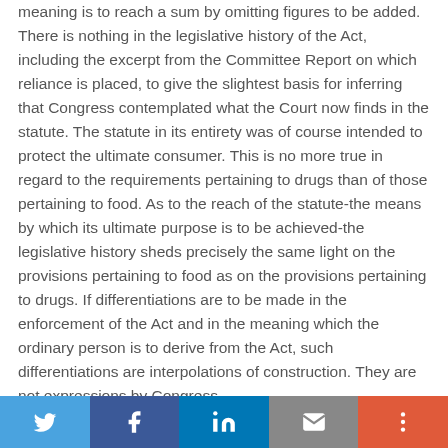meaning is to reach a sum by omitting figures to be added. There is nothing in the legislative history of the Act, including the excerpt from the Committee Report on which reliance is placed, to give the slightest basis for inferring that Congress contemplated what the Court now finds in the statute. The statute in its entirety was of course intended to protect the ultimate consumer. This is no more true in regard to the requirements pertaining to drugs than of those pertaining to food. As to the reach of the statute-the means by which its ultimate purpose is to be achieved-the legislative history sheds precisely the same light on the provisions pertaining to food as on the provisions pertaining to drugs. If differentiations are to be made in the enforcement of the Act and in the meaning which the ordinary person is to derive from the Act, such differentiations are interpolations of construction. They are not expressions by Congress.
[Figure (other): Social sharing bar with Twitter, Facebook, LinkedIn, email, and more buttons]